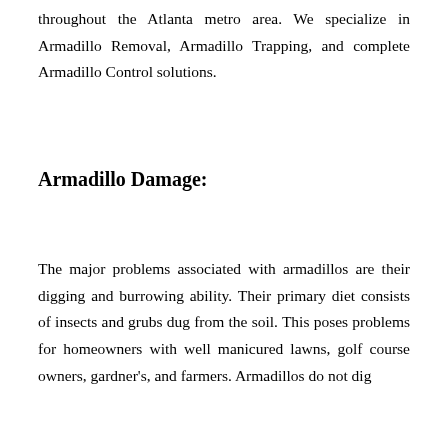throughout the Atlanta metro area. We specialize in Armadillo Removal, Armadillo Trapping, and complete Armadillo Control solutions.
Armadillo Damage:
The major problems associated with armadillos are their digging and burrowing ability. Their primary diet consists of insects and grubs dug from the soil. This poses problems for homeowners with well manicured lawns, golf course owners, gardner's, and farmers. Armadillos do not dig